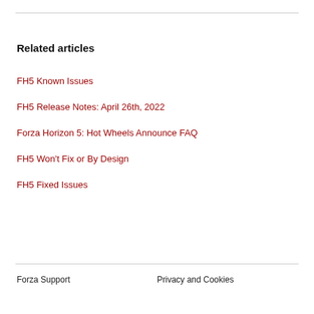Related articles
FH5 Known Issues
FH5 Release Notes: April 26th, 2022
Forza Horizon 5: Hot Wheels Announce FAQ
FH5 Won't Fix or By Design
FH5 Fixed Issues
Forza Support   Privacy and Cookies